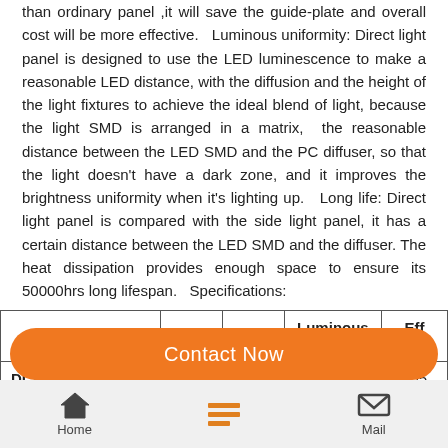than ordinary panel ,it will save the guide-plate and overall cost will be more effective. Luminous uniformity: Direct light panel is designed to use the LED luminescence to make a reasonable LED distance, with the diffusion and the height of the light fixtures to achieve the ideal blend of light, because the light SMD is arranged in a matrix, the reasonable distance between the LED SMD and the PC diffuser, so that the light doesn't have a dark zone, and it improves the brightness uniformity when it's lighting up. Long life: Direct light panel is compared with the side light panel, it has a certain distance between the LED SMD and the diffuser. The heat dissipation provides enough space to ensure its 50000hrs long lifespan. Specifications:
| Model | Power | Leds | Luminous Flux (lm) | Eff ( |
| --- | --- | --- | --- | --- |
| DLSP6060-36-IP40 | 36 | 2835 | 3780 | 105 |
Contact Now
Home  Mail